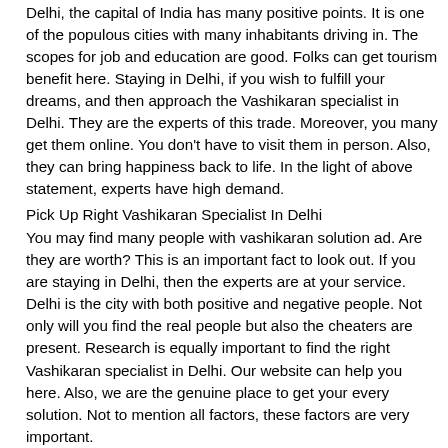Delhi, the capital of India has many positive points. It is one of the populous cities with many inhabitants driving in. The scopes for job and education are good. Folks can get tourism benefit here. Staying in Delhi, if you wish to fulfill your dreams, and then approach the Vashikaran specialist in Delhi. They are the experts of this trade. Moreover, you many get them online. You don't have to visit them in person. Also, they can bring happiness back to life. In the light of above statement, experts have high demand.
Pick Up Right Vashikaran Specialist In Delhi
You may find many people with vashikaran solution ad. Are they are worth? This is an important fact to look out. If you are staying in Delhi, then the experts are at your service. Delhi is the city with both positive and negative people. Not only will you find the real people but also the cheaters are present. Research is equally important to find the right Vashikaran specialist in Delhi. Our website can help you here. Also, we are the genuine place to get your every solution. Not to mention all factors, these factors are very important.
Best Vashikaran Specialist In Delhi
Folks received great help in every problem. Some issues are one time but others are persistent. Of course you will get solution for all. The expert Guru in Delhi has the talent. Moreover, their focus is high. Additionally, you may get many other benefits. If you wish to know about the future, Vashikaran specialist in Delhi will speak about it. Also, what he say is correct. Folks have received the clue in many cases. All the hard time can go away. Their expert